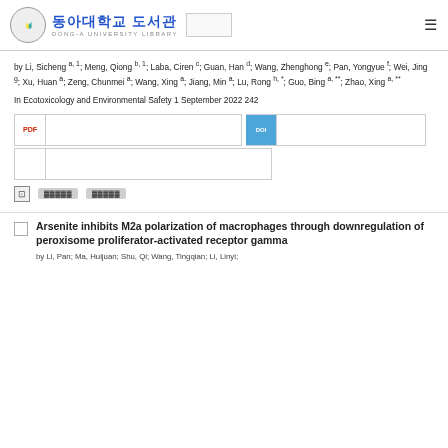동아대학교 도서관 DONG-A UNIVERSITY LIBRARY
by Li, Sicheng a, 1; Meng, Qiong b, 1; Laba, Ciren c; Guan, Han d; Wang, Zhenghong e; Pan, Yongyue f; Wei, Jing g; Xu, Huan a; Zeng, Chunmei a; Wang, Xing a; Jiang, Min a; Lu, Rong h, *; Guo, Bing a, **; Zhao, Xing a, **
In Ecotoxicology and Environmental Safety 1 September 2022 242
[Figure (screenshot): Two-row button grid with PDF download icon button and DOI link icon button]
[Figure (screenshot): Action row with save icon and two action buttons (Korean text)]
Arsenite inhibits M2a polarization of macrophages through downregulation of peroxisome proliferator-activated receptor gamma
by Li, Pan; Ma, Huijuan; Shu, Qi; Wang, Tingqian; Li, Linyi;